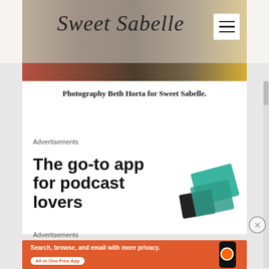Sweet Sabelle
[Figure (photo): Header photo strip showing food/dessert images with warm tones]
Photography Beth Horta for Sweet Sabelle.
Advertisements
[Figure (infographic): Advertisement: The go-to app for podcast lovers with decorative cards]
Advertisements
[Figure (infographic): DuckDuckGo advertisement: Search, browse, and email with more privacy. All in One Free App]